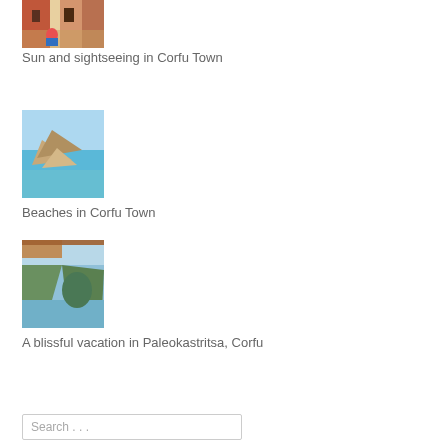[Figure (photo): Street scene in Corfu Town with colorful buildings and a person on a scooter]
Sun and sightseeing in Corfu Town
[Figure (photo): Aerial view of a beach cove in Corfu with turquoise water and rocky cliffs]
Beaches in Corfu Town
[Figure (photo): Coastal view in Paleokastritsa, Corfu with green hills and blue sea, thatched shade structure in foreground]
A blissful vacation in Paleokastritsa, Corfu